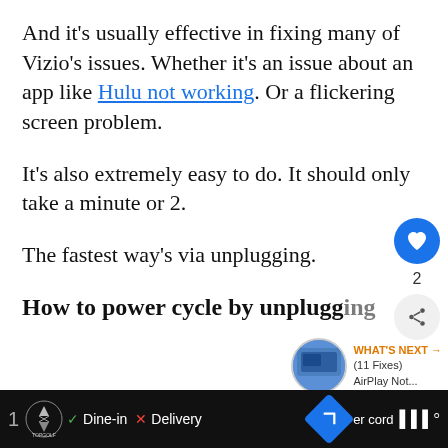And it's usually effective in fixing many of Vizio's issues. Whether it's an issue about an app like Hulu not working. Or a flickering screen problem.
It's also extremely easy to do. It should only take a minute or 2.
The fastest way's via unplugging.
How to power cycle by unplugging
[Figure (screenshot): Bottom advertisement bar with number 1, TopGolf logo, Dine-in and Delivery options, navigation diamond icon, cord text and music icon]